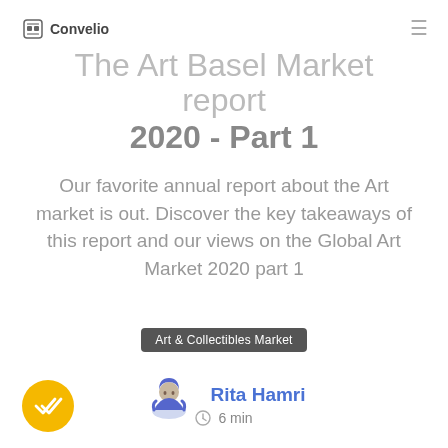Convelio
The Art Basel Market report 2020 - Part 1
Our favorite annual report about the Art market is out. Discover the key takeaways of this report and our views on the Global Art Market 2020 part 1
Art & Collectibles Market
Rita Hamri
6 min